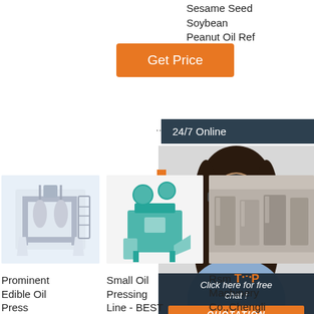Sesame Seed Soybean Peanut Oil Ref
[Figure (other): Orange 'Get Price' button]
... 24/7 Online
[Figure (photo): Customer support woman wearing headset, smiling]
Click here for free chat !
QUOTATION
[Figure (photo): Industrial flour/oil pressing machine on light blue background]
Prominent Edible Oil Press
[Figure (photo): Small oil pressing line machine, teal/white industrial equipment]
Small Oil Pressing Line - BEST
[Figure (photo): Industrial machinery in factory setting]
Rsm TOP Machinery Co.,Chengli